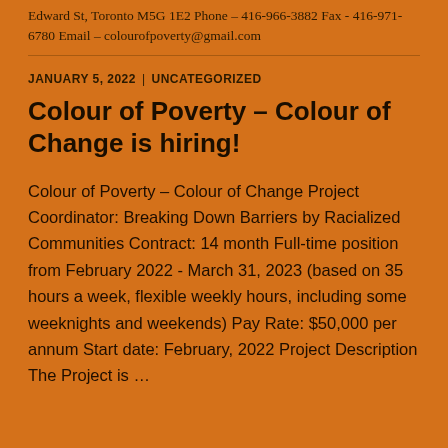Edward St, Toronto M5G 1E2 Phone – 416-966-3882 Fax - 416-971-6780 Email – colourofpoverty@gmail.com
JANUARY 5, 2022 | UNCATEGORIZED
Colour of Poverty – Colour of Change is hiring!
Colour of Poverty – Colour of Change Project Coordinator: Breaking Down Barriers by Racialized Communities Contract: 14 month Full-time position from February 2022 - March 31, 2023 (based on 35 hours a week, flexible weekly hours, including some weeknights and weekends) Pay Rate: $50,000 per annum Start date: February, 2022 Project Description The Project is …